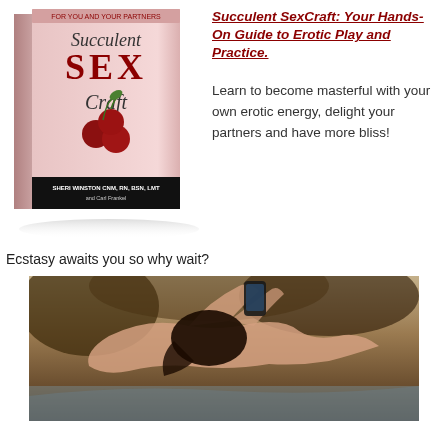[Figure (photo): 3D rendered book cover of 'Succulent SexCraft' by Sheri Winston, showing the book title with large red SEX letters, cherries illustration, on a pink background]
Succulent SexCraft: Your Hands-On Guide to Erotic Play and Practice.
Learn to become masterful with your own erotic energy, delight your partners and have more bliss!
Ecstasy awaits you so why wait?
[Figure (photo): Artistic photo of a woman reclining outdoors holding a smartphone, styled in classical painting aesthetic with warm earth tones]